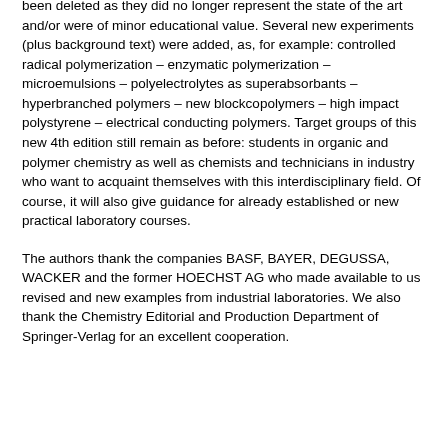been deleted as they did no longer represent the state of the art and/or were of minor educational value. Several new experiments (plus background text) were added, as, for example: controlled radical polymerization – enzymatic polymerization – microemulsions – polyelectrolytes as superabsorbants – hyperbranched polymers – new blockcopolymers – high impact polystyrene – electrical conducting polymers. Target groups of this new 4th edition still remain as before: students in organic and polymer chemistry as well as chemists and technicians in industry who want to acquaint themselves with this interdisciplinary field. Of course, it will also give guidance for already established or new practical laboratory courses.
The authors thank the companies BASF, BAYER, DEGUSSA, WACKER and the former HOECHST AG who made available to us revised and new examples from industrial laboratories. We also thank the Chemistry Editorial and Production Department of Springer-Verlag for an excellent cooperation.